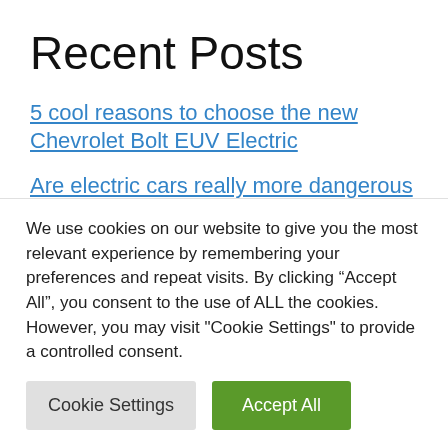Recent Posts
5 cool reasons to choose the new Chevrolet Bolt EUV Electric
Are electric cars really more dangerous in the event of an accident?
Auto show, will the electric car save the
We use cookies on our website to give you the most relevant experience by remembering your preferences and repeat visits. By clicking “Accept All”, you consent to the use of ALL the cookies. However, you may visit "Cookie Settings" to provide a controlled consent.